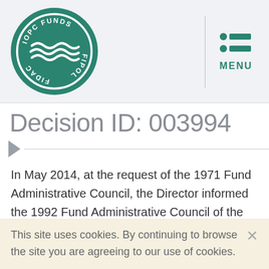[Figure (logo): IOPC FUNDS / FIPOL FIDAC circular logo with teal background and wave design]
Decision ID: 003994
In May 2014, at the request of the 1971 Fund Administrative Council, the Director informed the 1992 Fund Administrative Council of the debate which had taken place in the 1971 Fund Administrative Council earlier in the week (see paragraph 3.2.27). The 1992 Fund Administrative Council noted that in February 2014, the Maritime Court of First Instance in Caracas had issued a
This site uses cookies. By continuing to browse the site you are agreeing to our use of cookies.